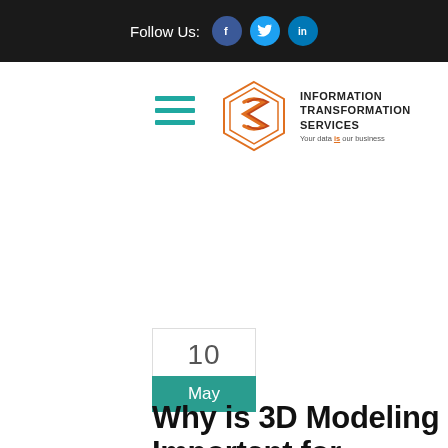Follow Us:
[Figure (logo): Information Transformation Services logo with orange hexagonal icon and text 'INFORMATION TRANSFORMATION SERVICES — Your data is our business']
10
May
Why is 3D Modeling Important for